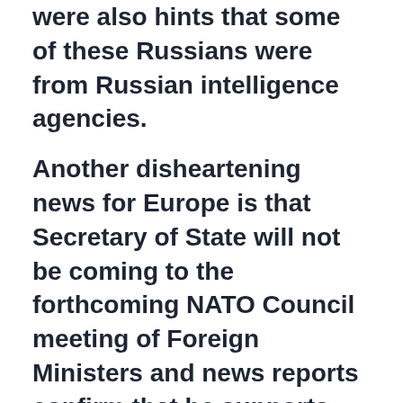were also hints that some of these Russians were from Russian intelligence agencies. Another disheartening news for Europe is that Secretary of State will not be coming to the forthcoming NATO Council meeting of Foreign Ministers and news reports confirm that he supports the drastic cutting of the State Department and USAID budget